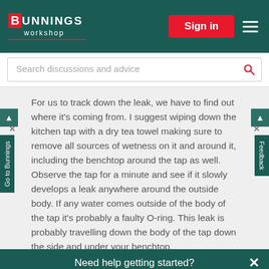[Figure (logo): Bunnings Workshop logo with red B icon and white text, on dark teal background]
[Figure (screenshot): Sign in button (red) and hamburger menu (white lines) on dark teal header]
Search discussions and advice
For us to track down the leak, we have to find out where it's coming from. I suggest wiping down the kitchen tap with a dry tea towel making sure to remove all sources of wetness on it and around it, including the benchtop around the tap as well. Observe the tap for a minute and see if it slowly develops a leak anywhere around the outside body. If any water comes outside of the body of the tap it's probably a faulty O-ring. This leak is probably travelling down the body of the tap down the side and under your benchtop.
However, if no water comes out and you're still getting a leak under the tap itself, odds are it's
Need help getting started?